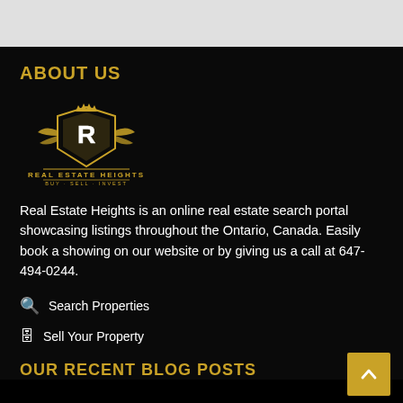ABOUT US
[Figure (logo): Real Estate Heights logo — gold crest with letter R, crown, flanking flourishes, text REAL ESTATE HEIGHTS BUY · SELL · INVEST]
Real Estate Heights is an online real estate search portal showcasing listings throughout the Ontario, Canada. Easily book a showing on our website or by giving us a call at 647-494-0244.
Search Properties
Sell Your Property
OUR RECENT BLOG POSTS